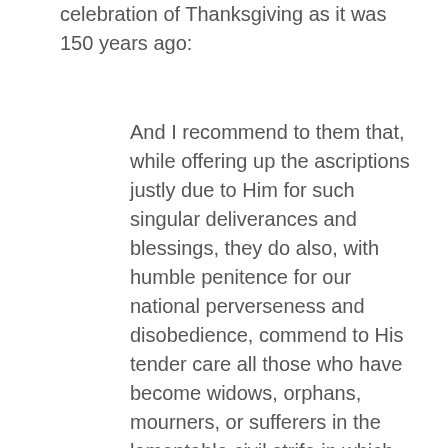celebration of Thanksgiving as it was 150 years ago:
And I recommend to them that, while offering up the ascriptions justly due to Him for such singular deliverances and blessings, they do also, with humble penitence for our national perverseness and disobedience, commend to His tender care all those who have become widows, orphans, mourners, or sufferers in the lamentable civil strife in which we are unavoidably engaged, and fervently implore the interposition of